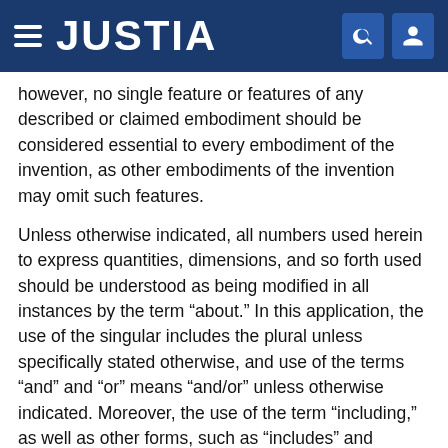JUSTIA
however, no single feature or features of any described or claimed embodiment should be considered essential to every embodiment of the invention, as other embodiments of the invention may omit such features.
Unless otherwise indicated, all numbers used herein to express quantities, dimensions, and so forth used should be understood as being modified in all instances by the term “about.” In this application, the use of the singular includes the plural unless specifically stated otherwise, and use of the terms “and” and “or” means “and/or” unless otherwise indicated. Moreover, the use of the term “including,” as well as other forms, such as “includes” and “included,” should be considered non-exclusive. Also, terms such as “element” or “component” encompass both elements and components comprising one unit and elements and components that comprise